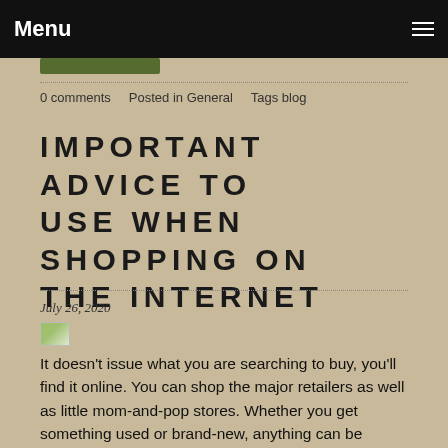Menu
0 comments   Posted in General   Tags blog
IMPORTANT ADVICE TO USE WHEN SHOPPING ON THE INTERNET
July 26, 2020
[Figure (photo): Small image thumbnail]
It doesn't issue what you are searching to buy, you'll find it online. You can shop the major retailers as well as little mom-and-pop stores. Whether you get something used or brand-new, anything can be bought at a discount. read page that follow will enable you to